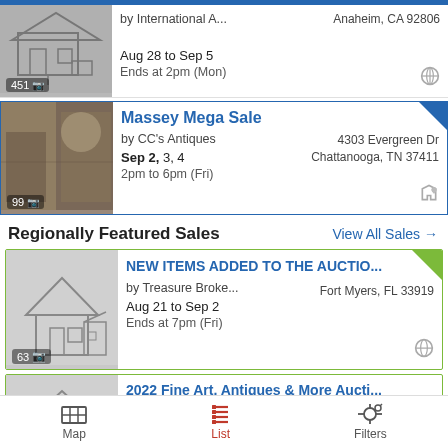by International A...  Anaheim, CA 92806
Aug 28 to Sep 5
Ends at 2pm (Mon)
[451 photos]
Massey Mega Sale
by CC's Antiques  4303 Evergreen Dr, Chattanooga, TN 37411
Sep 2, 3, 4
2pm to 6pm (Fri)
[99 photos]
Regionally Featured Sales
View All Sales →
NEW ITEMS ADDED TO THE AUCTIO...
by Treasure Broke...  Fort Myers, FL 33919
Aug 21 to Sep 2
Ends at 7pm (Fri)
[63 photos]
2022 Fine Art, Antiques & More Aucti...
Map   List   Filters